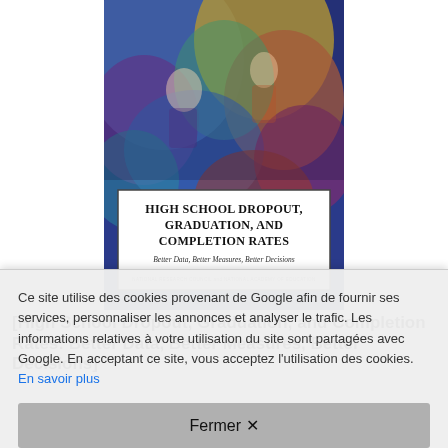[Figure (illustration): Book cover of 'High School Dropout, Graduation, and Completion Rates: Better Data, Better Measures, Better Decisions' published by National Research Council and National Academy of Education. Cover shows colorful abstract art with figures and a white text box overlay.]
[High School Dropout, Graduation, and Completion Rates: Better Data, Better Measures, Better Decisions]
Ce site utilise des cookies provenant de Google afin de fournir ses services, personnaliser les annonces et analyser le trafic. Les informations relatives à votre utilisation du site sont partagées avec Google. En acceptant ce site, vous acceptez l'utilisation des cookies. En savoir plus
Fermer ✕